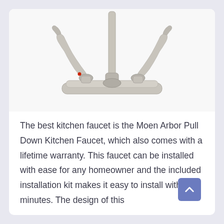[Figure (photo): A brushed nickel two-handle kitchen faucet with a tall center pull-down spout, mounted on a deck plate, viewed from above at an angle. The left handle has a small red dot indicator.]
The best kitchen faucet is the Moen Arbor Pull Down Kitchen Faucet, which also comes with a lifetime warranty. This faucet can be installed with ease for any homeowner and the included installation kit makes it easy to install within minutes. The design of this